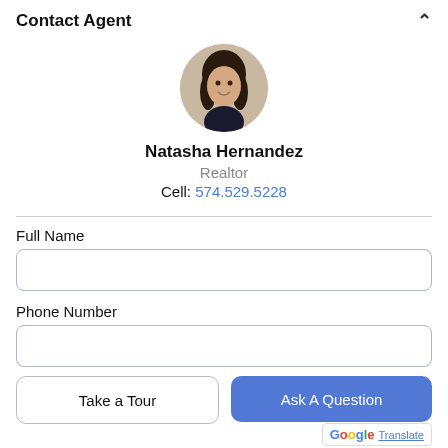Contact Agent
[Figure (photo): Circular profile photo of Natasha Hernandez, a woman with dark hair, smiling, wearing a dark top]
Natasha Hernandez
Realtor
Cell: 574.529.5228
Full Name
Phone Number
Take a Tour
Ask A Question
Translate